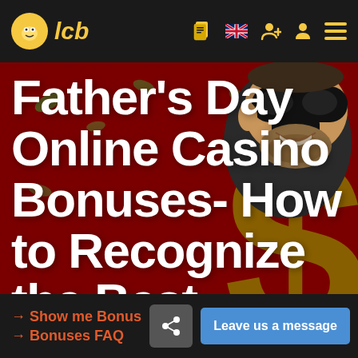lcb
[Figure (illustration): Cartoon villain character wearing black mask and sunglasses on dark red background with gold dollar sign symbol]
Father's Day Online Casino Bonuses- How to Recognize the Best Deals?
→ Show me Bonus
→ Bonuses FAQ
Leave us a message